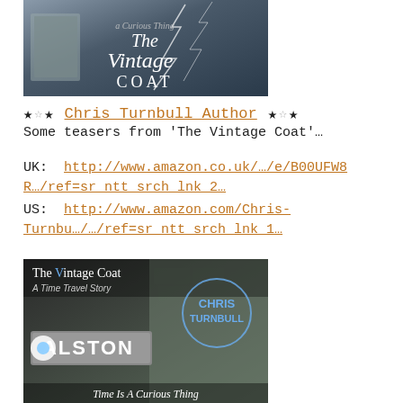[Figure (illustration): Book cover image for 'The Vintage Coat' with dramatic stormy sky background, lightning, and stylized text reading 'The Vintage Coat' in white cursive/serif lettering]
★☆★ Chris Turnbull Author ★☆★
Some teasers from 'The Vintage Coat'…
UK:  http://www.amazon.co.uk/…/e/B00UFW8R…/ref=sr_ntt_srch_lnk_2…
US:  http://www.amazon.com/Chris-Turnbu…/…/ref=sr_ntt_srch_lnk_1…
[Figure (illustration): Promotional image for 'The Vintage Coat - A Time Travel Story' by Chris Turnbull. Shows vintage Alston town sign, stone building, with text 'Time Is A Curious Thing']